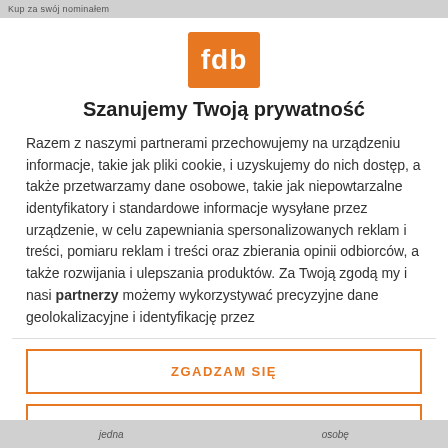Kup za swój nominałem
[Figure (logo): Orange square logo with white text 'fdb']
Szanujemy Twoją prywatność
Razem z naszymi partnerami przechowujemy na urządzeniu informacje, takie jak pliki cookie, i uzyskujemy do nich dostęp, a także przetwarzamy dane osobowe, takie jak niepowtarzalne identyfikatory i standardowe informacje wysyłane przez urządzenie, w celu zapewniania spersonalizowanych reklam i treści, pomiaru reklam i treści oraz zbierania opinii odbiorców, a także rozwijania i ulepszania produktów. Za Twoją zgodą my i nasi partnerzy możemy wykorzystywać precyzyjne dane geolokalizacyjne i identyfikację przez
ZGADZAM SIĘ
WIĘCEJ OPCJI
jedna       osobę